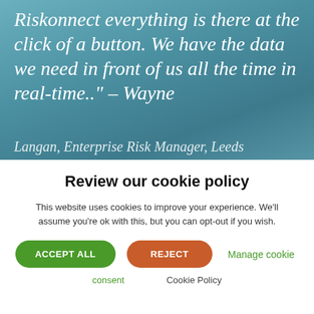Riskonnect everything is there at the click of a button. We have the data we need in front of us all the time in real-time.." – Wayne Langan, Enterprise Risk Manager, Leeds
Review our cookie policy
This website uses cookies to improve your experience. We'll assume you're ok with this, but you can opt-out if you wish.
ACCEPT ALL | REJECT | Manage cookie
consent | Cookie Policy